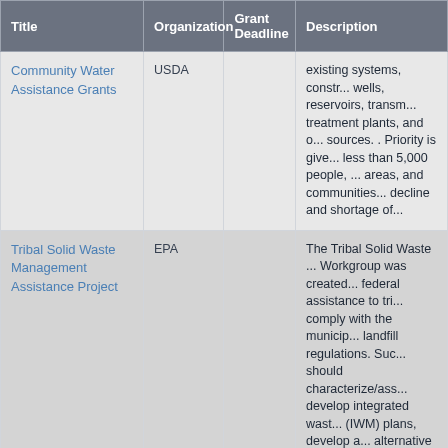| Title | Organization | Grant Deadline | Description |
| --- | --- | --- | --- |
| Community Water Assistance Grants | USDA |  | existing systems, constr... wells, reservoirs, transm... treatment plants, and o... sources. . Priority is give... less than 5,000 people,... areas, and communities... decline and shortage of... |
| Tribal Solid Waste Management Assistance Project | EPA |  | The Tribal Solid Waste ... Workgroup was created... federal assistance to tri... comply with the municip... landfill regulations. Suc... should characterize/ass... develop integrated wast... (IWM) plans, develop a... alternative solid waste ... activities/facilities; or d... implement cleanup, clo... closure programs for op... Indian Country. Each p... address only one of the... categories described b... |